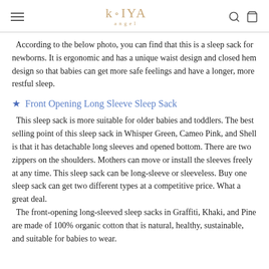Kaiya Angel
According to the below photo, you can find that this is a sleep sack for newborns. It is ergonomic and has a unique waist design and closed hem design so that babies can get more safe feelings and have a longer, more restful sleep.
Front Opening Long Sleeve Sleep Sack
This sleep sack is more suitable for older babies and toddlers. The best selling point of this sleep sack in Whisper Green, Cameo Pink, and Shell is that it has detachable long sleeves and opened bottom. There are two zippers on the shoulders. Mothers can move or install the sleeves freely at any time. This sleep sack can be long-sleeve or sleeveless. Buy one sleep sack can get two different types at a competitive price. What a great deal. The front-opening long-sleeved sleep sacks in Graffiti, Khaki, and Pine are made of 100% organic cotton that is natural, healthy, sustainable, and suitable for babies to wear.